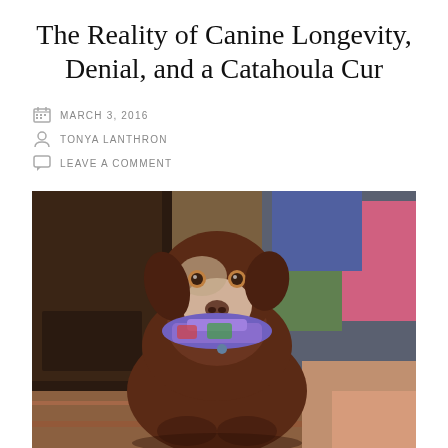The Reality of Canine Longevity, Denial, and a Catahoula Cur
MARCH 3, 2016
TONYA LANTHRON
LEAVE A COMMENT
[Figure (photo): A brown and white pit bull / Catahoula Cur dog sitting on a patterned rug in front of a pile of colorful laundry and a dark wooden dresser. The dog has a colorful scarf or cloth around its neck and is looking directly at the camera.]